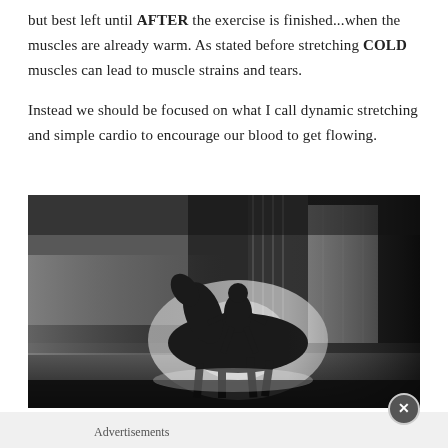but best left until AFTER the exercise is finished...when the muscles are already warm.  As stated before stretching COLD muscles can lead to muscle strains and tears.

Instead we should be focused on what I call dynamic stretching and simple cardio to encourage our blood to get flowing.
[Figure (photo): Black and white photograph of a rider on horseback near a barn or stable entrance, with dramatic lighting coming from behind.]
Advertisements